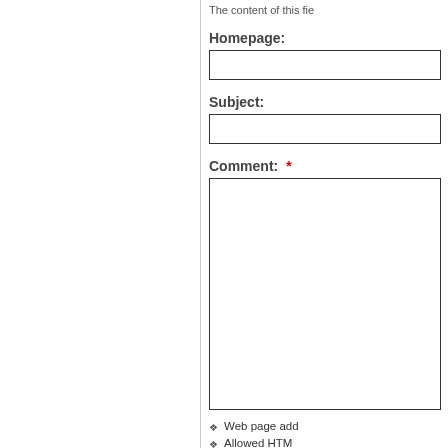The content of this fie
Homepage:
Subject:
Comment: *
Web page add
Allowed HTM
Lines and par
—CAPTCHA —